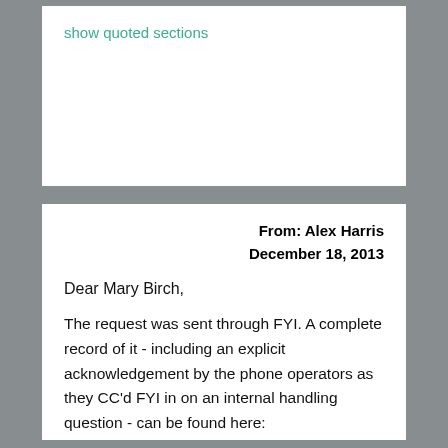show quoted sections
From: Alex Harris
December 18, 2013
Dear Mary Birch,
The request was sent through FYI. A complete record of it - including an explicit acknowledgement by the phone operators as they CC'd FYI in on an internal handling question - can be found here:
https://fyi.org.nz/request/1302-number-o...